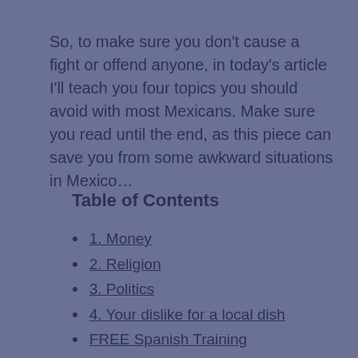So, to make sure you don't cause a fight or offend anyone, in today's article I'll teach you four topics you should avoid with most Mexicans. Make sure you read until the end, as this piece can save you from some awkward situations in Mexico…
Table of Contents
1. Money
2. Religion
3. Politics
4. Your dislike for a local dish
FREE Spanish Training